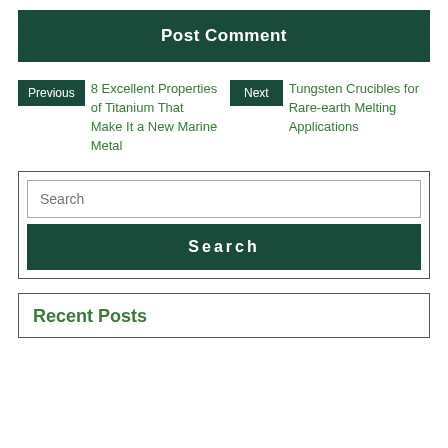Post Comment
Previous 8 Excellent Properties of Titanium That Make It a New Marine Metal
Next Tungsten Crucibles for Rare-earth Melting Applications
Search
Search
Recent Posts